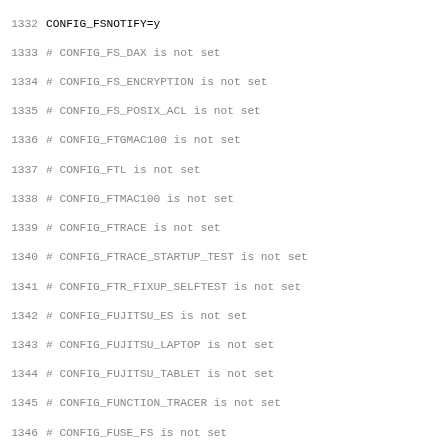1332 CONFIG_FSNOTIFY=y
1333 # CONFIG_FS_DAX is not set
1334 # CONFIG_FS_ENCRYPTION is not set
1335 # CONFIG_FS_POSIX_ACL is not set
1336 # CONFIG_FTGMAC100 is not set
1337 # CONFIG_FTL is not set
1338 # CONFIG_FTMAC100 is not set
1339 # CONFIG_FTRACE is not set
1340 # CONFIG_FTRACE_STARTUP_TEST is not set
1341 # CONFIG_FTR_FIXUP_SELFTEST is not set
1342 # CONFIG_FUJITSU_ES is not set
1343 # CONFIG_FUJITSU_LAPTOP is not set
1344 # CONFIG_FUJITSU_TABLET is not set
1345 # CONFIG_FUNCTION_TRACER is not set
1346 # CONFIG_FUSE_FS is not set
1347 # CONFIG_FUSION is not set
1348 # CONFIG_FUSION_FC is not set
1349 # CONFIG_FUSION_SAS is not set
1350 # CONFIG_FUSION_SPI is not set
1351 CONFIG_FUTEX=y
1352 # CONFIG_FW_CFG_SYSFS is not set
1353 CONFIG_FW_LOADER=y
1354 CONFIG_FW_LOADER_USER_HELPER=y
1355 CONFIG_FW_LOADER_USER_HELPER_FALLBACK=y
1356 CONFIG_GACT_PROB=y
1357 # CONFIG_GADGET_UAC1 is not set
1358 # CONFIG_GAMEPORT is not set
1359 # CONFIG_GATEWORKS_GW16083 is not set
1360 # CONFIG_GCC_PLUGINS is not set
1361 # CONFIG_GCOV is not set
1362 # CONFIG_GCOV_KERNEL is not set
1363 # CONFIG_GDB_SCRIPTS is not set